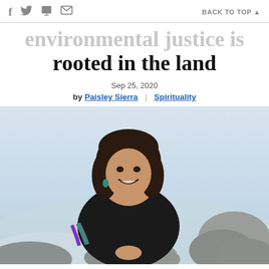f  [twitter]  [print]  [mail]  |  BACK TO TOP ▲
environmental justice is rooted in the land
Sep 25, 2020
by Paisley Sierra  |  Spirituality
[Figure (photo): A young woman with dark hair, wearing a black long-sleeve top, smiling and resting her arms on snow-covered rocks outdoors in a winter landscape.]